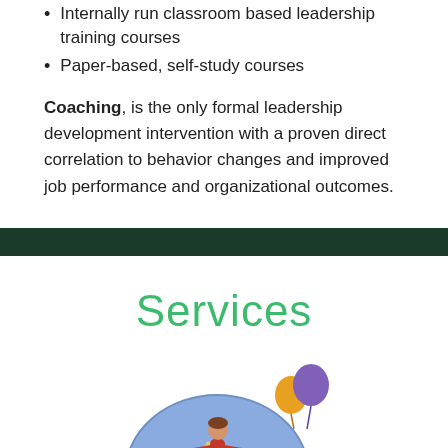Internally run classroom based leadership training courses
Paper-based, self-study courses
Coaching, is the only formal leadership development intervention with a proven direct correlation to behavior changes and improved job performance and organizational outcomes.
Services
[Figure (illustration): Illustration of a person in a red outfit balancing on a globe/ball with a long pole, with colorful balloons floating nearby, on a white background.]